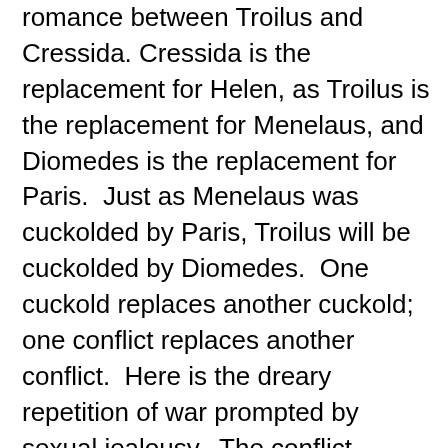romance between Troilus and Cressida. Cressida is the replacement for Helen, as Troilus is the replacement for Menelaus, and Diomedes is the replacement for Paris.  Just as Menelaus was cuckolded by Paris, Troilus will be cuckolded by Diomedes.  One cuckold replaces another cuckold; one conflict replaces another conflict.  Here is the dreary repetition of war prompted by sexual jealousy.  The conflict between Troilus and Diomedes repeats the conflict between Paris and Menelaus—this suggests that erotically generated war will never cease.
When he lines up to Kiss the Girl with the rest of the Grecian army, Menelaus is the only suitor